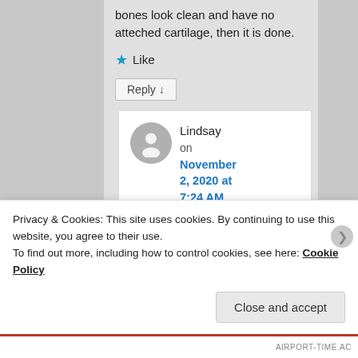bones look clean and have no atteched cartilage, then it is done.
★ Like
Reply ↓
Lindsay on November 2, 2020 at 7:24 AM said:
Privacy & Cookies: This site uses cookies. By continuing to use this website, you agree to their use.
To find out more, including how to control cookies, see here: Cookie Policy
Close and accept